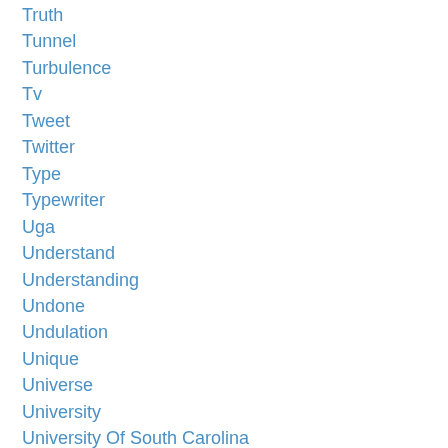Truth
Tunnel
Turbulence
Tv
Tweet
Twitter
Type
Typewriter
Uga
Understand
Understanding
Undone
Undulation
Unique
Universe
University
University Of South Carolina
Update
Urban Fantasy
Usc
Vacation